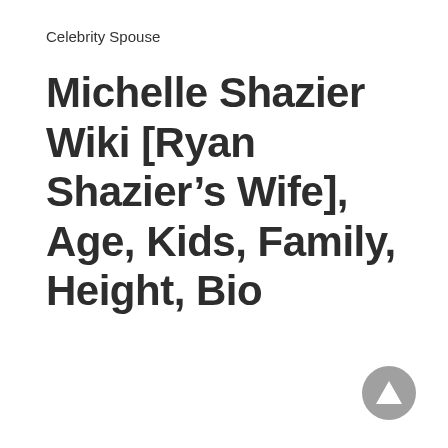Celebrity Spouse
Michelle Shazier Wiki [Ryan Shazier’s Wife], Age, Kids, Family, Height, Bio
[Figure (other): Scroll-to-top button: circular grey button with upward-pointing triangle/arrow icon]